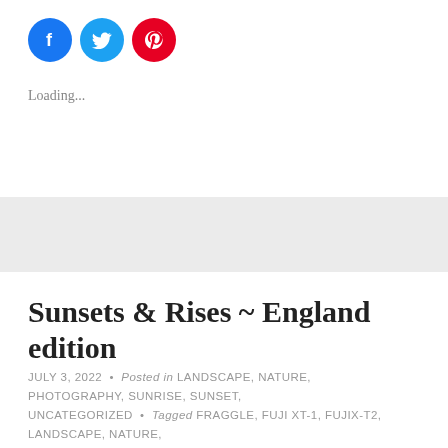[Figure (other): Three social share icon circles: Facebook (blue), Twitter (light blue), Pinterest (red)]
Loading...
Sunsets & Rises ~ England edition
JULY 3, 2022 • Posted in LANDSCAPE, NATURE, PHOTOGRAPHY, SUNRISE, SUNSET, UNCATEGORIZED • Tagged FRAGGLE, FUJI XT-1, FUJIX-T2, LANDSCAPE, NATURE, PHOTOGRAPHY, UK • 39 COMMENTS